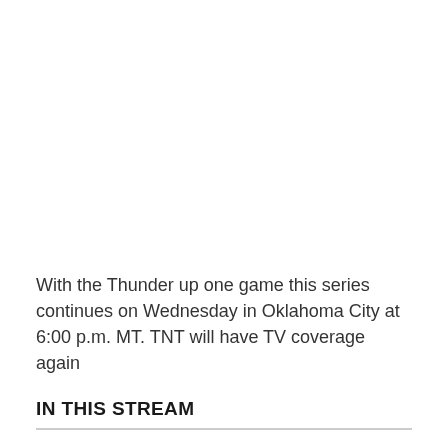With the Thunder up one game this series continues on Wednesday in Oklahoma City at 6:00 p.m. MT. TNT will have TV coverage again
IN THIS STREAM